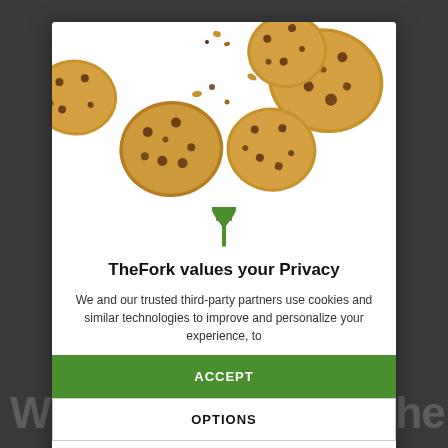[Figure (photo): Cookie consent modal overlay on TheFork website. Modal shows chocolate chip cookies falling/floating at top, TheFork fork logo, privacy notice text, Accept button, Options button, and Continue without accepting link. Background shows dark website with partial text 'With Insider, book the'.]
TheFork values your Privacy
We and our trusted third-party partners use cookies and similar technologies to improve and personalize your experience, to
ACCEPT
OPTIONS
CONTINUE WITHOUT ACCEPTING →
With Insider, book the